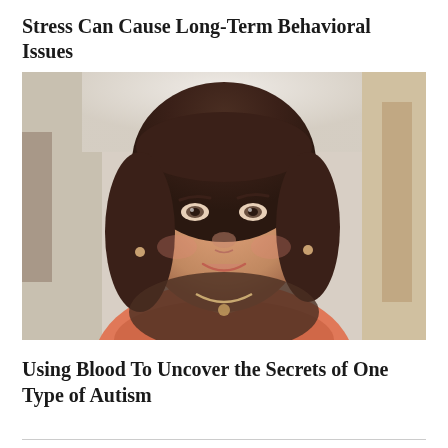Stress Can Cause Long-Term Behavioral Issues
[Figure (photo): Portrait photo of a middle-aged woman with shoulder-length brown hair, wearing an orange/coral top and a gold necklace, smiling at the camera. Office/indoor background.]
Using Blood To Uncover the Secrets of One Type of Autism